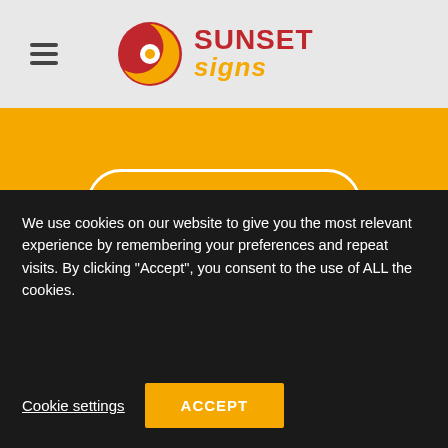[Figure (logo): Sunset Signs logo with circular icon and stylized text]
DOWNLOAD
We use cookies on our website to give you the most relevant experience by remembering your preferences and repeat visits. By clicking “Accept”, you consent to the use of ALL the cookies.
Cookie settings
ACCEPT